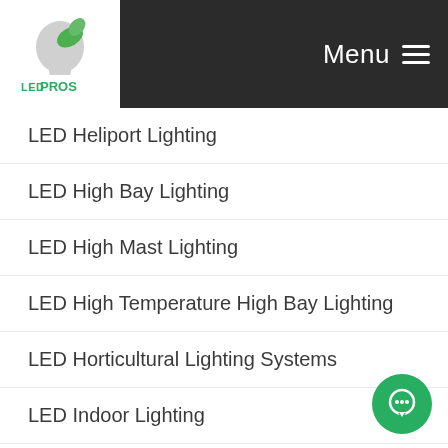LED PROS — Menu
LED Heliport Lighting
LED High Bay Lighting
LED High Mast Lighting
LED High Temperature High Bay Lighting
LED Horticultural Lighting Systems
LED Indoor Lighting
LED Indoor Swimming Pool Lighting Fixtures
LED Inground Lighting
LED Light Bulbs
LED Linear Form Factors
LED Linear High Bay
LED Linear Strip Lights
LED Low Bay Lighting